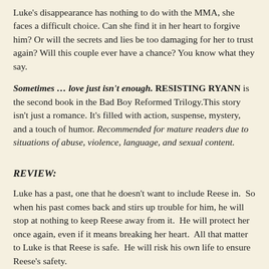Luke's disappearance has nothing to do with the MMA, she faces a difficult choice. Can she find it in her heart to forgive him? Or will the secrets and lies be too damaging for her to trust again? Will this couple ever have a chance? You know what they say.
Sometimes … love just isn't enough. RESISTING RYANN is the second book in the Bad Boy Reformed Trilogy.This story isn't just a romance. It's filled with action, suspense, mystery, and a touch of humor. Recommended for mature readers due to situations of abuse, violence, language, and sexual content.
REVIEW:
Luke has a past, one that he doesn't want to include Reese in.  So when his past comes back and stirs up trouble for him, he will stop at nothing to keep Reese away from it.  He will protect her once again, even if it means breaking her heart.  All that matter to Luke is that Reese is safe.  He will risk his own life to ensure Reese's safety.
"She means everything to me. She's my light in the darkness